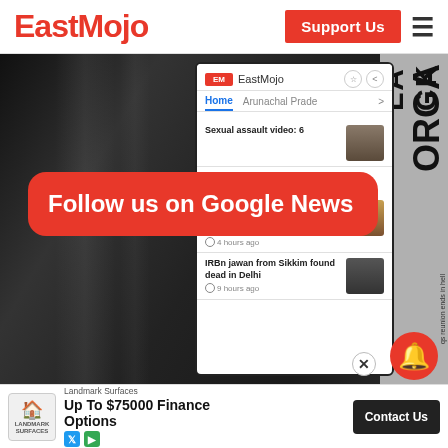[Figure (screenshot): EastMojo website header with logo, Support Us button, and hamburger menu]
[Figure (screenshot): EastMojo news app screenshot showing Google News feed with headlines including 'Sexual assault video: 6', 'Manipur: Catholic Church to open 40-bed COVID-19 ward at CMC Hospital' (4 hours ago), and 'IRBn jawan from Sikkim found dead in Delhi' (9 hours ago), overlaid with red rounded-rectangle button 'Follow us on Google News', against dark grayscale background with newspaper strips on right]
[Figure (screenshot): Advertisement bar at bottom: Landmark Surfaces - Up To $75000 Finance Options - Contact Us button]